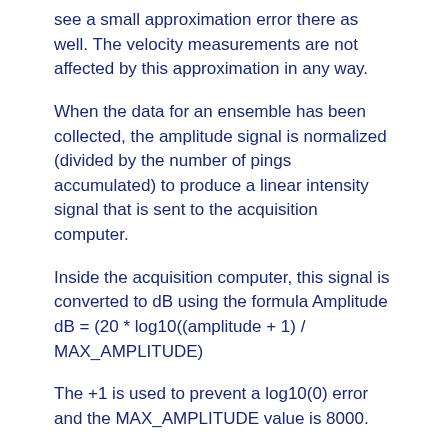see a small approximation error there as well. The velocity measurements are not affected by this approximation in any way.
When the data for an ensemble has been collected, the amplitude signal is normalized (divided by the number of pings accumulated) to produce a linear intensity signal that is sent to the acquisition computer.
Inside the acquisition computer, this signal is converted to dB using the formula Amplitude dB = (20 * log10((amplitude + 1) / MAX_AMPLITUDE)
The +1 is used to prevent a log10(0) error and the MAX_AMPLITUDE value is 8000.
(Note that the acquisition software allows you to collect the linear amplitude from the instrument instead of the log amplitude if desired.)
Correlation: